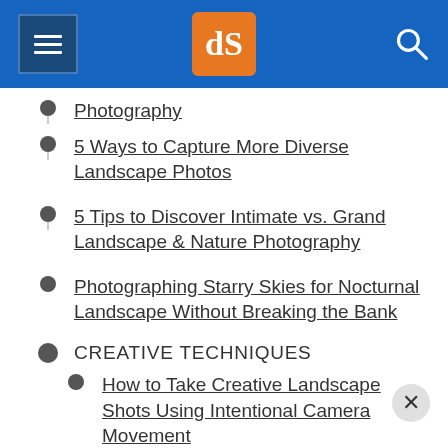dPS [logo header]
Photography
5 Ways to Capture More Diverse Landscape Photos
5 Tips to Discover Intimate vs. Grand Landscape & Nature Photography
Photographing Starry Skies for Nocturnal Landscape Without Breaking the Bank
CREATIVE TECHNIQUES
How to Take Creative Landscape Shots Using Intentional Camera Movement
How to Convert...